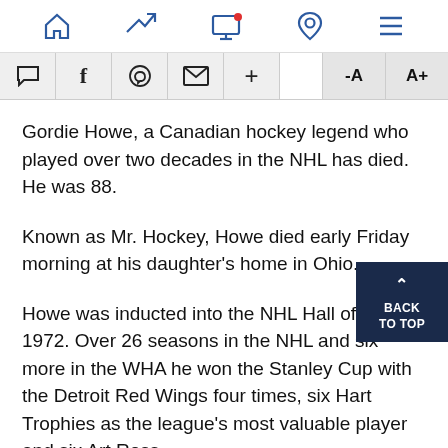[Navigation bar with home, trending, screen, location, and menu icons]
[Toolbar with comment, facebook, whatsapp, email, plus, -A, A+ buttons]
Gordie Howe, a Canadian hockey legend who played over two decades in the NHL has died. He was 88.
Known as Mr. Hockey, Howe died early Friday morning at his daughter's home in Ohio.
Howe was inducted into the NHL Hall of Fame 1972. Over 26 seasons in the NHL and six more in the WHA he won the Stanley Cup with the Detroit Red Wings four times, six Hart Trophies as the league's most valuable player and six Art Ross